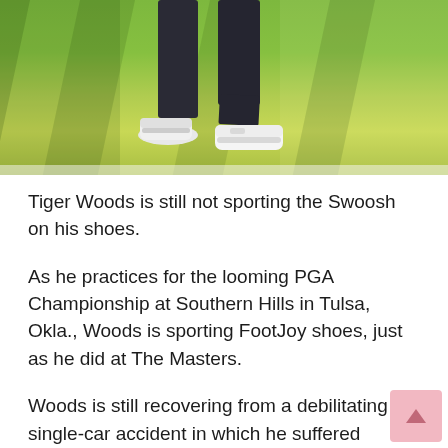[Figure (photo): Close-up photo of Tiger Woods' lower body/legs on a golf course green, wearing dark pants and white FootJoy golf shoes. The grass is bright green with light and shadow patterns.]
Tiger Woods is still not sporting the Swoosh on his shoes.
As he practices for the looming PGA Championship at Southern Hills in Tulsa, Okla., Woods is sporting FootJoy shoes, just as he did at The Masters.
Woods is still recovering from a debilitating single-car accident in which he suffered multiple injuries to his right leg last February,